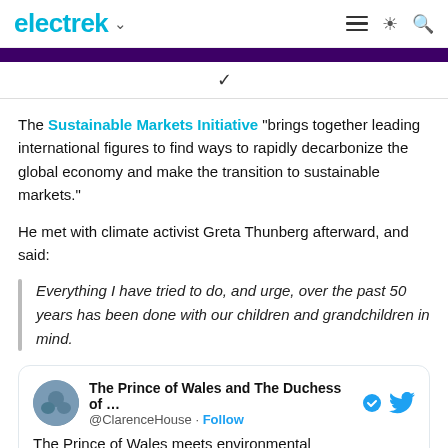electrek
The Sustainable Markets Initiative "brings together leading international figures to find ways to rapidly decarbonize the global economy and make the transition to sustainable markets."
He met with climate activist Greta Thunberg afterward, and said:
Everything I have tried to do, and urge, over the past 50 years has been done with our children and grandchildren in mind.
The Prince of Wales and The Duchess of ... @ClarenceHouse · Follow
The Prince of Wales meets environmental